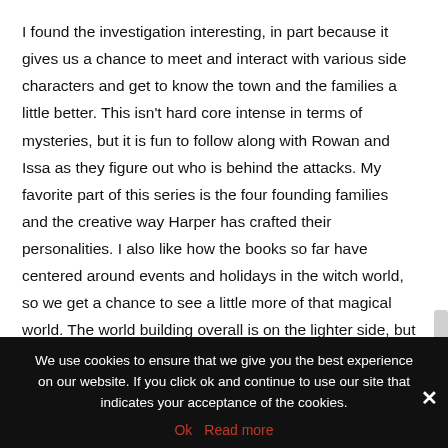I found the investigation interesting, in part because it gives us a chance to meet and interact with various side characters and get to know the town and the families a little better. This isn't hard core intense in terms of mysteries, but it is fun to follow along with Rowan and Issa as they figure out who is behind the attacks. My favorite part of this series is the four founding families and the creative way Harper has crafted their personalities. I also like how the books so far have centered around events and holidays in the witch world, so we get a chance to see a little more of that magical world. The world building overall is on the lighter side, but I am enjoying how it all
We use cookies to ensure that we give you the best experience on our website. If you click ok and continue to use our site that indicates your acceptance of the cookies.
Ok   Read more